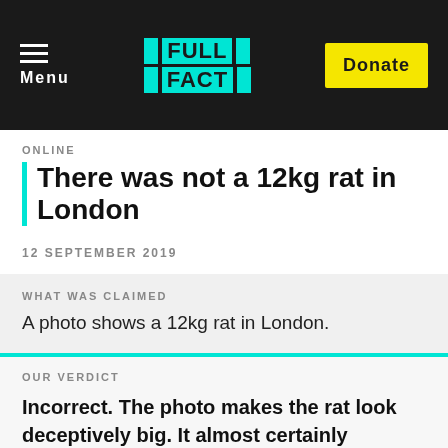Menu  FULL FACT  Donate
ONLINE
There was not a 12kg rat in London
12 SEPTEMBER 2019
WHAT WAS CLAIMED
A photo shows a 12kg rat in London.
OUR VERDICT
Incorrect. The photo makes the rat look deceptively big. It almost certainly weighed less than 3kg.